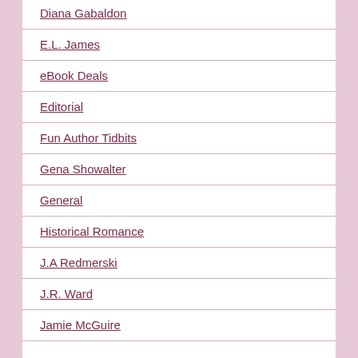Diana Gabaldon
E.L. James
eBook Deals
Editorial
Fun Author Tidbits
Gena Showalter
General
Historical Romance
J.A Redmerski
J.R. Ward
Jamie McGuire